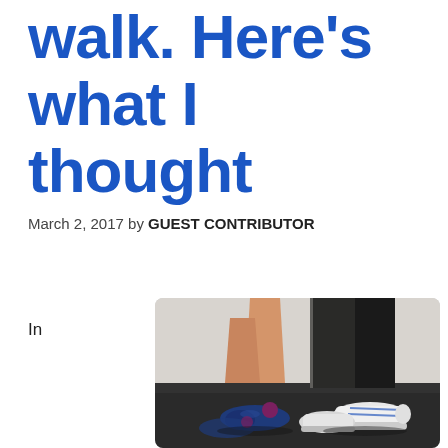walk. Here's what I thought
March 2, 2017 by GUEST CONTRIBUTOR
In
[Figure (photo): Close-up photo of two people from the knees down walking on a dark floor. A woman wearing navy blue ballet flats with a purple pom-pom detail, and a man wearing white sneakers and dark jeans.]